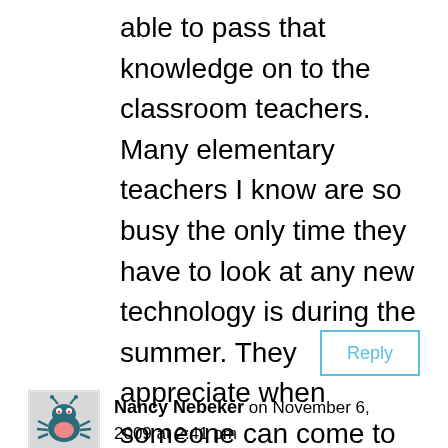able to pass that knowledge on to the classroom teachers. Many elementary teachers I know are so busy the only time they have to look at any new technology is during the summer. They appreciate when someone can come to them with a plan and collaborate with them.
Reply
[Figure (illustration): Small avatar image of a cartoon crab/insect character in dark teal color]
Nancy Nebeker on November 6, 2009 at 2:41 pm